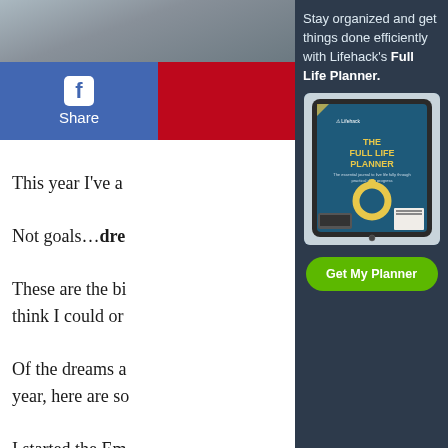[Figure (photo): Top image strip showing a desk or outdoor scene, partially visible at top of left column]
[Figure (infographic): Facebook Share button (blue with f icon) and a red Pin/Save button social sharing bar]
This year I've a
Not goals…dre
These are the bi think I could or
Of the dreams a year, here are so
I started the Em
Stay organized and get things done efficiently with Lifehack's Full Life Planner.
[Figure (photo): Tablet showing The Full Life Planner book cover with Lifehack branding, golden circular logo, and items like keyboard and notepad around it]
Get My Planner